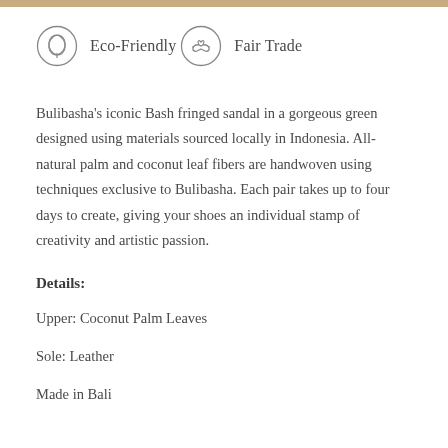[Figure (logo): Eco-Friendly circular badge icon with leaf/nature symbol]
Eco-Friendly
[Figure (logo): Fair Trade circular badge icon with handshake symbol]
Fair Trade
Bulibasha's iconic Bash fringed sandal in a gorgeous green designed using materials sourced locally in Indonesia. All-natural palm and coconut leaf fibers are handwoven using techniques exclusive to Bulibasha. Each pair takes up to four days to create, giving your shoes an individual stamp of creativity and artistic passion.
Details:
Upper: Coconut Palm Leaves
Sole: Leather
Made in Bali